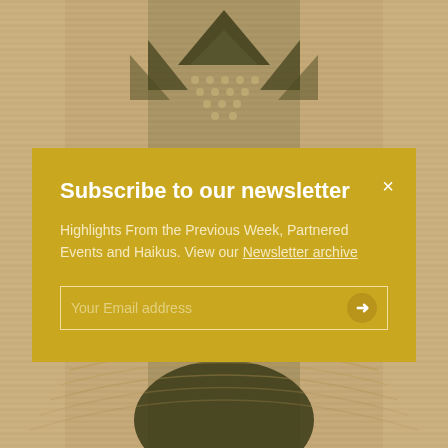[Figure (photo): Blurred close-up photograph of a woven textile or basket with geometric diamond/triangle patterns in dark olive green and beige/cream colors, with horizontal ribbed texture.]
Subscribe to our newsletter
Highlights From the Previous Week, Partnered Events and Haikus. View our Newsletter archive
Your Email address